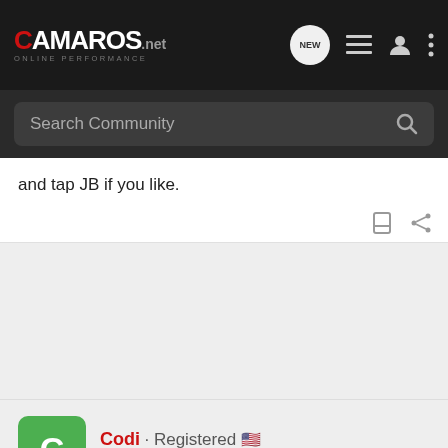CAMAROS.net - ONLINE PERFORMANCE
Search Community
and tap JB if you like.
Codi · Registered · Joined Nov 27, 2000 · 3,169 Posts
#5 · Mar 12, 2007